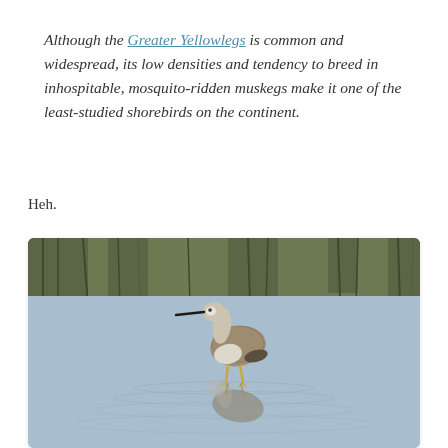Although the Greater Yellowlegs is common and widespread, its low densities and tendency to breed in inhospitable, mosquito-ridden muskegs make it one of the least-studied shorebirds on the continent.
Heh.
[Figure (photo): A Greater Yellowlegs shorebird wading in shallow water with ripples around its legs and a reflection visible below, with green reeds/vegetation in the blurred background.]